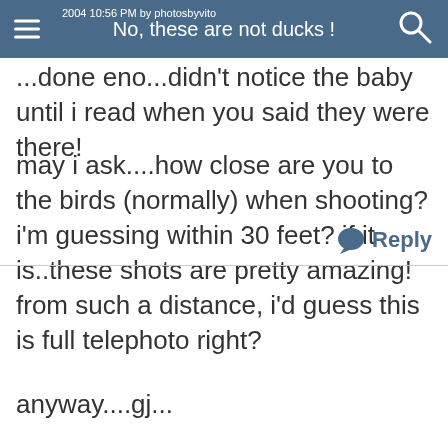No, these are not ducks !
...done eno...didn't notice the baby until i read when you said they were there!
may i ask....how close are you to the birds (normally) when shooting? i'm guessing within 30 feet? if it is..these shots are pretty amazing! from such a distance, i'd guess this is full telephoto right?
anyway....gj...
Vito